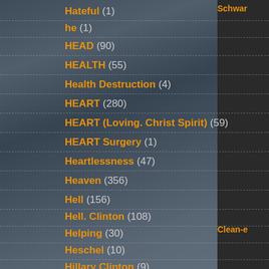Hateful (1)
he (1)
HEAD (90)
HEALTH (55)
Health Destruction (4)
HEART (280)
HEART (Loving. Christ Spirit) (59)
HEART Surgery (1)
Heartlessness (47)
Heaven (356)
Hell (156)
Hell. Clinton (108)
Helping (30)
Heschel (10)
Hillary Clinton (9)
Holiness (1)
Holocaust (14)
Homelessness (59)
Hope (26)
Schwar
Clean-e